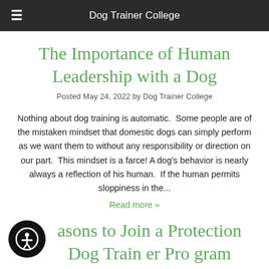Dog Trainer College
The Importance of Human Leadership with a Dog
Posted May 24, 2022 by Dog Trainer College
Nothing about dog training is automatic.  Some people are of the mistaken mindset that domestic dogs can simply perform as we want them to without any responsibility or direction on our part.  This mindset is a farce! A dog's behavior is nearly always a reflection of his human.  If the human permits sloppiness in the...
Read more »
asons to Join a Protection Dog Trainer Program